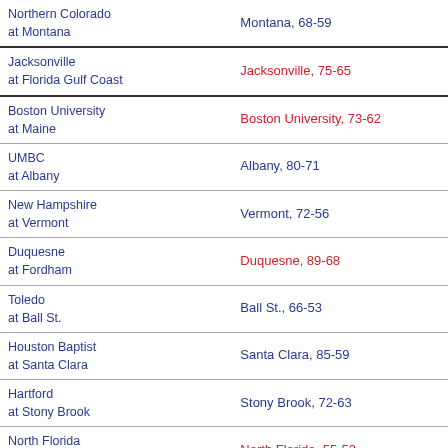| Matchup | Result |
| --- | --- |
| Northern Colorado at Montana | Montana, 68-59 |
| Jacksonville at Florida Gulf Coast | Jacksonville, 75-65 |
| Boston University at Maine | Boston University, 73-62 |
| UMBC at Albany | Albany, 80-71 |
| New Hampshire at Vermont | Vermont, 72-56 |
| Duquesne at Fordham | Duquesne, 89-68 |
| Toledo at Ball St. | Ball St., 66-53 |
| Houston Baptist at Santa Clara | Santa Clara, 85-59 |
| Hartford at Stony Brook | Stony Brook, 72-63 |
| North Florida at Stetson | North Florida, 55-53 |
MOV MEAN ABSOLUTE ERROR: 0 | TOTALS MAE: 0 | SCORE BIAS: 0 | RECORD OF FAVORITES: 0-28 (EXPECTED: 0-28)
Compiled by Bart Torvik from sacred data and secret formulas.